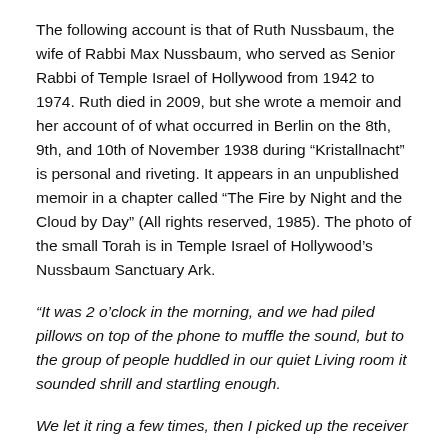The following account is that of Ruth Nussbaum, the wife of Rabbi Max Nussbaum, who served as Senior Rabbi of Temple Israel of Hollywood from 1942 to 1974. Ruth died in 2009, but she wrote a memoir and her account of of what occurred in Berlin on the 8th, 9th, and 10th of November 1938 during “Kristallnacht” is personal and riveting. It appears in an unpublished memoir in a chapter called “The Fire by Night and the Cloud by Day” (All rights reserved, 1985). The photo of the small Torah is in Temple Israel of Hollywood’s Nussbaum Sanctuary Ark.
“It was 2 o’clock in the morning, and we had piled pillows on top of the phone to muffle the sound, but to the group of people huddled in our quiet Living room it sounded shrill and startling enough.
We let it ring a few times, then I picked up the receiver